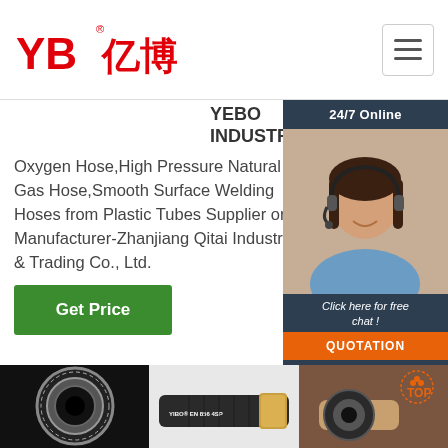[Figure (logo): YB亿博 logo in red with registered mark]
[Figure (illustration): Hamburger menu icon button]
Oxygen Hose,High Pressure Natural Gas Hose,Smooth Surface Welding Hoses from Plastic Tubes Supplier or Manufacturer-Zhanjiang Qitai Industry & Trading Co., Ltd.
YEBO INDUSTRIAL INC
24/7 Online
[Figure (photo): Customer service representative smiling with headset]
Click here for free chat !
QUOTATION
G
Get Price
[Figure (photo): End-on view of a rubber hose showing inner bore]
[Figure (photo): YIBO EN 856 4SP hydraulic hose product photo]
[Figure (photo): Hand holding rubber hose fitting with TOP badge overlay]